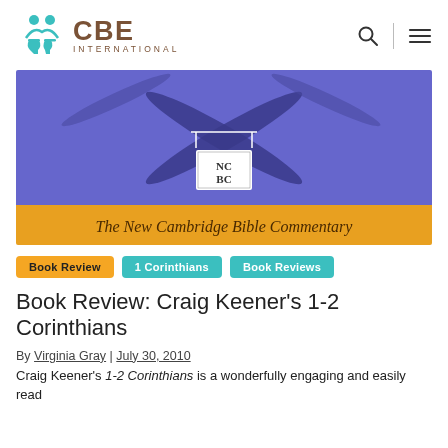CBE INTERNATIONAL
[Figure (photo): Book cover of 'The New Cambridge Bible Commentary' series, with a blue/purple background showing crossed reeds or oars, and an orange/yellow band at the bottom with the series title. The NCBC logo is shown in the center.]
Book Review | 1 Corinthians | Book Reviews
Book Review: Craig Keener's 1-2 Corinthians
By Virginia Gray | July 30, 2010
Craig Keener's 1-2 Corinthians is a wonderfully engaging and easily read